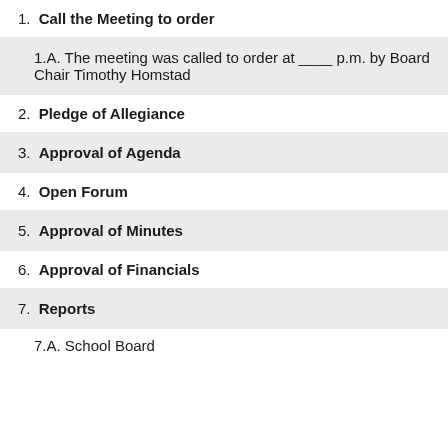1. Call the Meeting to order
1.A. The meeting was called to order at ____ p.m. by Board Chair Timothy Homstad
2. Pledge of Allegiance
3. Approval of Agenda
4. Open Forum
5. Approval of Minutes
6. Approval of Financials
7. Reports
7.A. School Board